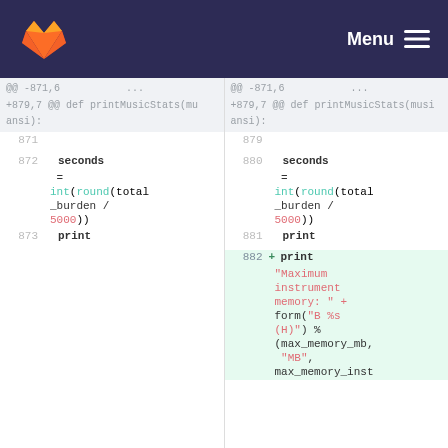[Figure (screenshot): GitLab web interface showing a code diff view with two panels side-by-side. Left panel shows old code (lines 871-873) and right panel shows new code (lines 879-882) with an added line highlighted in green. The diff is for a Python function printMusicStats showing changes around the 'seconds' variable and addition of a print statement for 'Maximum instrument memory'.]
Menu
@@ -871,6 ... +879,7 @@ def printMusicStats(mu ansi):
871  879
872       seconds = int(round(total_burden / 5000))   880       seconds = int(round(total_burden / 5000))
873       print   881       print
                 882 +       print "Maximum instrument memory: " + form("B %s (H)") % (max_memory_mb, "MB", max_memory_inst